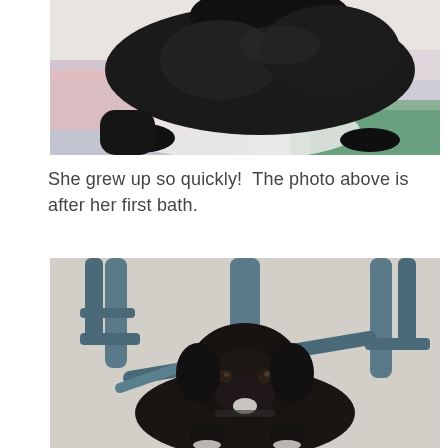[Figure (photo): A black dog lying on colorful blankets/quilts, photographed after its first bath. The dog is dark/black with wet fur, lying relaxed on fabric with pink, blue and green colors.]
She grew up so quickly!  The photo above is after her first bath.
[Figure (photo): A black Labrador puppy sitting/lying under a blue wooden chair on a light-colored carpet. The puppy has a small white patch on its chest and is looking at the camera.]